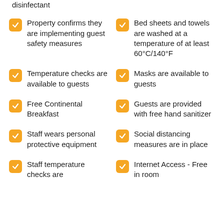disinfectant
Property confirms they are implementing guest safety measures
Bed sheets and towels are washed at a temperature of at least 60°C/140°F
Temperature checks are available to guests
Masks are available to guests
Free Continental Breakfast
Guests are provided with free hand sanitizer
Staff wears personal protective equipment
Social distancing measures are in place
Staff temperature checks are
Internet Access - Free in room